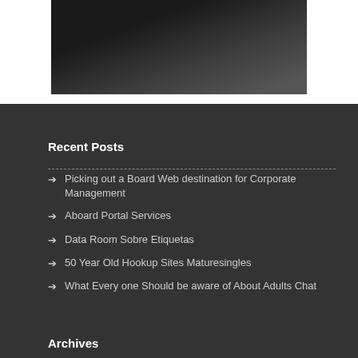[Figure (photo): Basketball photo with players, dark background with red logo/text visible at top]
Recent Posts
Picking out a Board Web destination for Corporate Management
Aboard Portal Services
Data Room Sobre Etiquetas
50 Year Old Hookup Sites Maturesingles
What Every one Should be aware of About Adults Chat
Archives